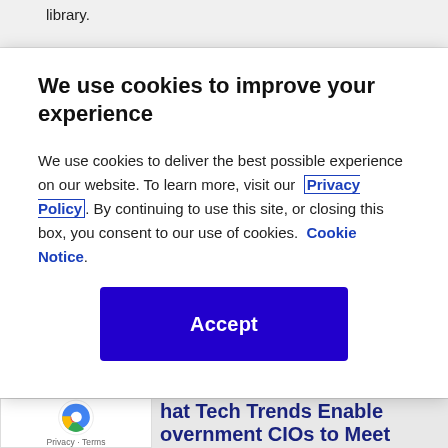library.
We use cookies to improve your experience
We use cookies to deliver the best possible experience on our website. To learn more, visit our  Privacy Policy. By continuing to use this site, or closing this box, you consent to our use of cookies.  Cookie Notice.
Accept
hat Tech Trends Enable Government CIOs to Meet Stakeholder Needs?